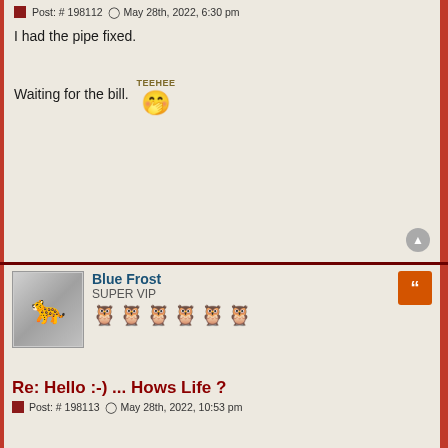Post: # 198112 ⊙ May 28th, 2022, 6:30 pm
I had the pipe fixed.
Waiting for the bill. [TEEHEE emoji]
Blue Frost
SUPER VIP
Re: Hello :-) ... Hows Life ?
Post: # 198113 ⊙ May 28th, 2022, 10:53 pm
LOL, that's what you get with those fat Mexican girls Odi,

Maybe eat a vegan once, and a while for some fiber [hammer emoji]

Didn't do much myself today, cleaned the front porch off some, and that's about it.
Rough start to the day, and I'm tired from it all.
maybe tomorrow right :) got some weeds to take care off.
Of course I talk to myself. Sometimes I need expert advise, and a good conversation.